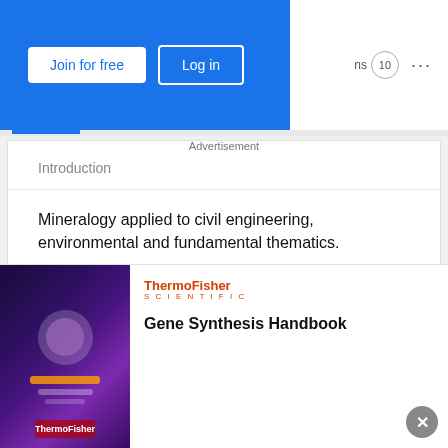Join for free | Log in | ns 10 ...
Introduction
Mineralogy applied to civil engineering, environmental and fundamental thematics.
Skills and Expertise
Applied Mineralogy
Microscopy
Petrographic Thin Section
Mineralogy
Imaging
Cartography
Petrology
Civil Engineering
Advertisement
[Figure (illustration): ThermoFisher Scientific advertisement image with purple/dark background showing a person in a lab coat]
ThermoFisher SCIENTIFIC
Gene Synthesis Handbook